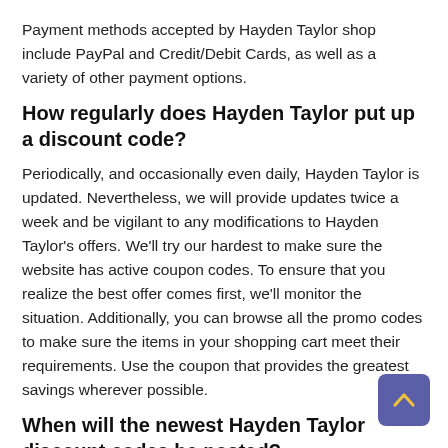Payment methods accepted by Hayden Taylor shop include PayPal and Credit/Debit Cards, as well as a variety of other payment options.
How regularly does Hayden Taylor put up a discount code?
Periodically, and occasionally even daily, Hayden Taylor is updated. Nevertheless, we will provide updates twice a week and be vigilant to any modifications to Hayden Taylor's offers. We'll try our hardest to make sure the website has active coupon codes. To ensure that you realize the best offer comes first, we'll monitor the situation. Additionally, you can browse all the promo codes to make sure the items in your shopping cart meet their requirements. Use the coupon that provides the greatest savings wherever possible.
When will the newest Hayden Taylor discount codes be posted?